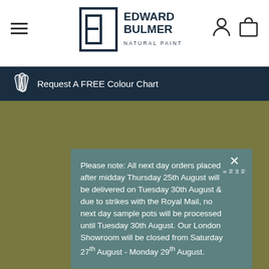[Figure (logo): Edward Bulmer Natural Paint logo with stylized E/B monogram icon and text]
Request A FREE Colour Chart
Please note: All next day orders placed after midday Thursday 25th August will be delivered on Tuesday 30th August & due to strikes with the Royal Mail, no next day sample pots will be processed until Tuesday 30th August. Our London Showroom will be closed from Saturday 27th August - Monday 29th August.